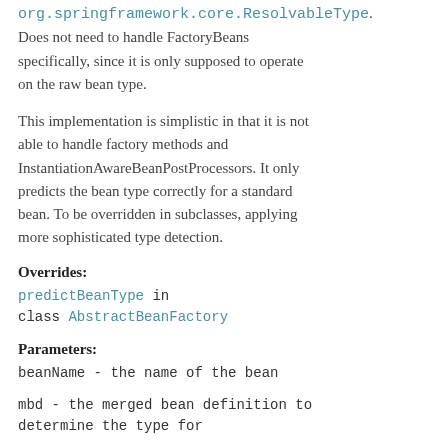org.springframework.core.ResolvableType). Does not need to handle FactoryBeans specifically, since it is only supposed to operate on the raw bean type.
This implementation is simplistic in that it is not able to handle factory methods and InstantiationAwareBeanPostProcessors. It only predicts the bean type correctly for a standard bean. To be overridden in subclasses, applying more sophisticated type detection.
Overrides:
predictBeanType in class AbstractBeanFactory
Parameters:
beanName - the name of the bean
mbd - the merged bean definition to determine the type for
typesToMatch - the types to match in case of internal type matching purposes (also signals that the returned Class will never